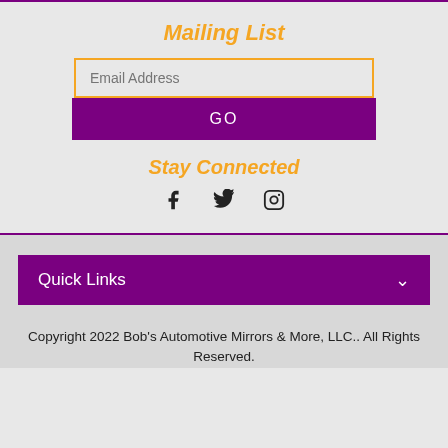Mailing List
Email Address
GO
Stay Connected
[Figure (infographic): Social media icons: Facebook (f), Twitter (bird), Instagram (camera)]
Quick Links
Copyright 2022 Bob's Automotive Mirrors & More, LLC.. All Rights Reserved.